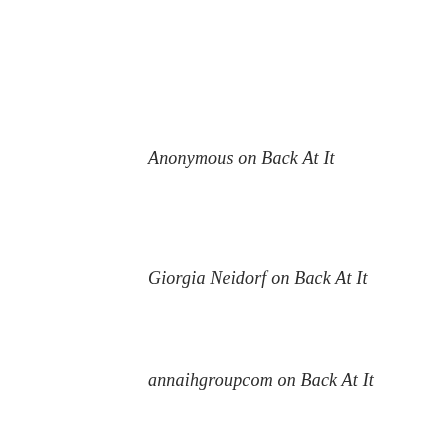Anonymous on Back At It
Giorgia Neidorf on Back At It
annaihgroupcom on Back At It